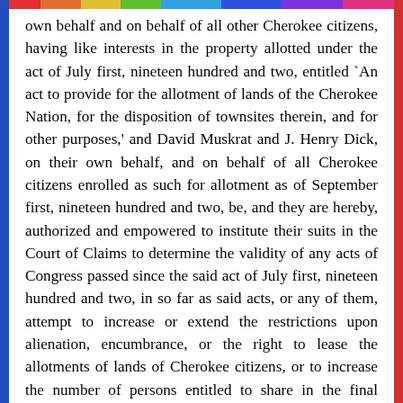own behalf and on behalf of all other Cherokee citizens, having like interests in the property allotted under the act of July first, nineteen hundred and two, entitled `An act to provide for the allotment of lands of the Cherokee Nation, for the disposition of townsites therein, and for other purposes,' and David Muskrat and J. Henry Dick, on their own behalf, and on behalf of all Cherokee citizens enrolled as such for allotment as of September first, nineteen hundred and two, be, and they are hereby, authorized and empowered to institute their suits in the Court of Claims to determine the validity of any acts of Congress passed since the said act of July first, nineteen hundred and two, in so far as said acts, or any of them, attempt to increase or extend the restrictions upon alienation, encumbrance, or the right to lease the allotments of lands of Cherokee citizens, or to increase the number of persons entitled to share in the final distribution of lands and funds of the Cherokees beyond those enrolled